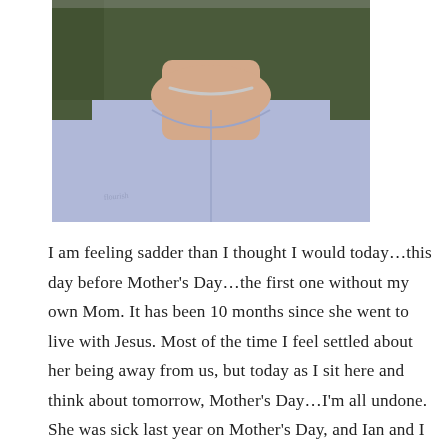[Figure (photo): A woman wearing a light blue/lavender top with a silver choker necklace, photographed from neck to waist level.]
I am feeling sadder than I thought I would today…this day before Mother's Day…the first one without my own Mom. It has been 10 months since she went to live with Jesus. Most of the time I feel settled about her being away from us, but today as I sit here and think about tomorrow, Mother's Day…I'm all undone. She was sick last year on Mother's Day, and Ian and I went to visit with her for a while in the afternoon. The picture of that day is on my sidebar. I don't think that today I can write